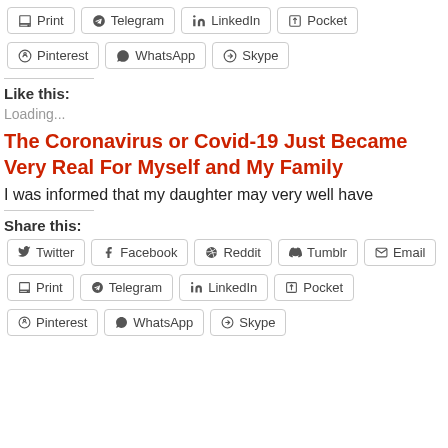Print
Telegram
LinkedIn
Pocket
Pinterest
WhatsApp
Skype
Like this:
Loading...
The Coronavirus or Covid-19 Just Became Very Real For Myself and My Family
I was informed that my daughter may very well have
Share this:
Twitter
Facebook
Reddit
Tumblr
Email
Print
Telegram
LinkedIn
Pocket
Pinterest
WhatsApp
Skype